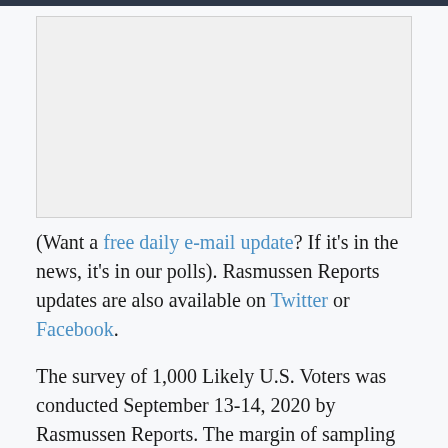[Figure (other): Placeholder image area at top of page (advertisement or image content)]
(Want a free daily e-mail update? If it's in the news, it's in our polls). Rasmussen Reports updates are also available on Twitter or Facebook.
The survey of 1,000 Likely U.S. Voters was conducted September 13-14, 2020 by Rasmussen Reports. The margin of sampling error is +/- 3 percentage points with a 95% level of confidence.